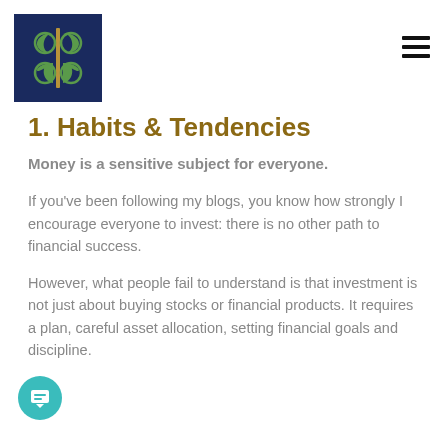[Figure (logo): Dark navy blue square logo with green ornamental/leaf design and gold vertical bar in center]
1. Habits & Tendencies
Money is a sensitive subject for everyone.
If you've been following my blogs, you know how strongly I encourage everyone to invest: there is no other path to financial success.
However, what people fail to understand is that investment is not just about buying stocks or financial products. It requires a plan, careful asset allocation, setting financial goals and discipline.